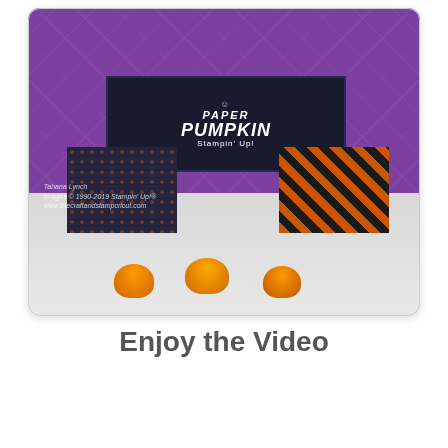[Figure (photo): Photo of a Paper Pumpkin craft kit box (purple with diamond pattern) with two small Halloween-themed decorated boxes in front (one dark with orange dots, one with black and orange diagonal stripes), and several orange foil Hershey's Kisses chocolates in the foreground. Text on the box reads 'PAPER PUMPKIN Stampin Up'. Watermark text reads 'Tahana Lynch' and website info.]
Enjoy the Video
[Figure (screenshot): YouTube video thumbnail showing a circular avatar photo of a woman with glasses on a dark/black background, with text 'September 2019 ...' and a three-dot menu icon.]